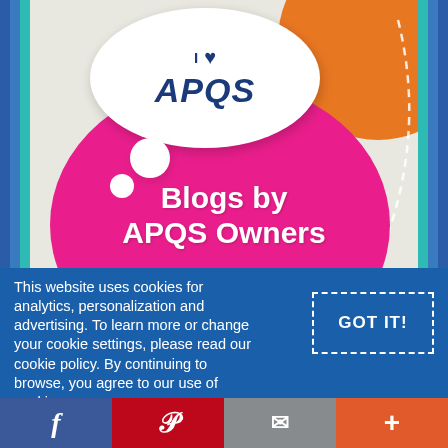[Figure (illustration): APQS branding graphic with speech bubble saying 'I love APQS', pink circle background, orange circle accent, and text 'Blogs by APQS Owners']
This website uses cookies for analytics, personalization and advertising. To learn more or change your cookie settings, please read our cookie policy. By continuing to browse, you agree to our use of cookies.
[Figure (other): GOT IT! button with dashed border]
[Figure (other): Social media share bar with Facebook, Pinterest, Email, and More (+) buttons]